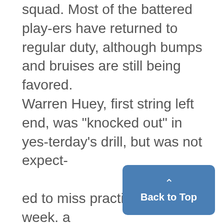squad. Most of the battered players have returned to regular duty, although bumps and bruises are still being favored. Warren Huey, first string left end, was "knocked out" in yesterday's drill, but was not expected to miss practices the week. a the rest of{ Al4 ilzrn Dal